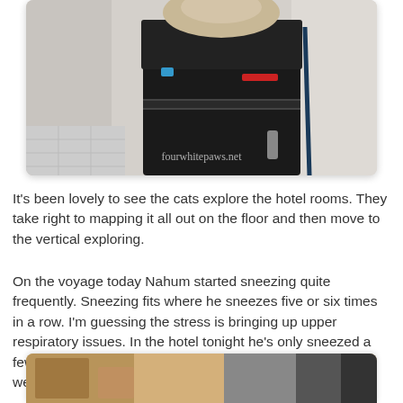[Figure (photo): A black refrigerator or appliance in a narrow hallway or closet space, with a light-colored bag or item on top. The floor shows tile. Watermark reads 'fourwhitepaws.net'.]
It's been lovely to see the cats explore the hotel rooms. They take right to mapping it all out on the floor and then move to the vertical exploring.
On the voyage today Nahum started sneezing quite frequently. Sneezing fits where he sneezes five or six times in a row. I'm guessing the stress is bringing up upper respiratory issues. In the hotel tonight he's only sneezed a few times. We might need stop at a vet on the way, for now we'll keep an eye on him.
[Figure (photo): Partial view of a hotel room interior, showing furniture and room details.]